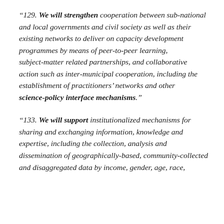“129. We will strengthen cooperation between sub-national and local governments and civil society as well as their existing networks to deliver on capacity development programmes by means of peer-to-peer learning, subject-matter related partnerships, and collaborative action such as inter-municipal cooperation, including the establishment of practitioners’ networks and other science-policy interface mechanisms.”
“133. We will support institutionalized mechanisms for sharing and exchanging information, knowledge and expertise, including the collection, analysis and dissemination of geographically-based, community-collected and disaggregated data by income, gender, age, race,